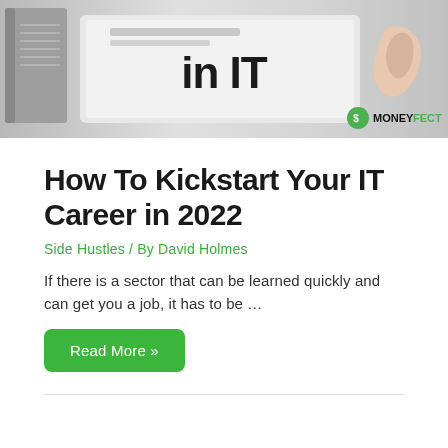[Figure (photo): Hero image showing a laptop/tablet with 'in IT' text overlaid in large bold letters, notebook visible on the left, hand reaching from the right, with MONEYFECT logo badge in the bottom right corner]
How To Kickstart Your IT Career in 2022
Side Hustles / By David Holmes
If there is a sector that can be learned quickly and can get you a job, it has to be …
Read More »